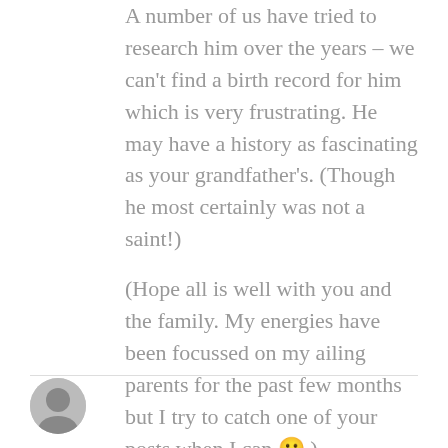A number of us have tried to research him over the years – we can't find a birth record for him which is very frustrating. He may have a history as fascinating as your grandfather's. (Though he most certainly was not a saint!)
(Hope all is well with you and the family. My energies have been focussed on my ailing parents for the past few months but I try to catch one of your posts when I can 🙂 )
★ Liked by 1 person